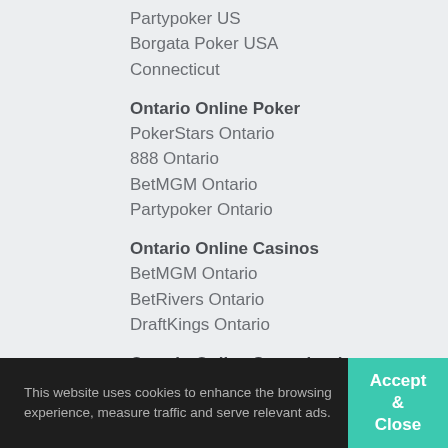Partypoker US
Borgata Poker USA
Connecticut
Ontario Online Poker
PokerStars Ontario
888 Ontario
BetMGM Ontario
Partypoker Ontario
Ontario Online Casinos
BetMGM Ontario
BetRivers Ontario
DraftKings Ontario
Ontario Online Sportsbooks
This website uses cookies to enhance the browsing experience, measure traffic and serve relevant ads.